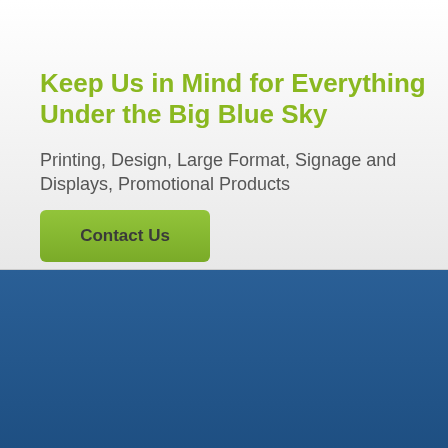Keep Us in Mind for Everything Under the Big Blue Sky
Printing, Design, Large Format, Signage and Displays, Promotional Products
Contact Us
Prepare for a soft landing.
Print services at Blue Parachute run the gamut; for any type of printing or large-format production, Blue Parachute offers NY/NJ Digital Color Printing Services, graphic design services, graphic design production, photography services and digital printing, large-format printing, system retouching, label printing, commercial printing,